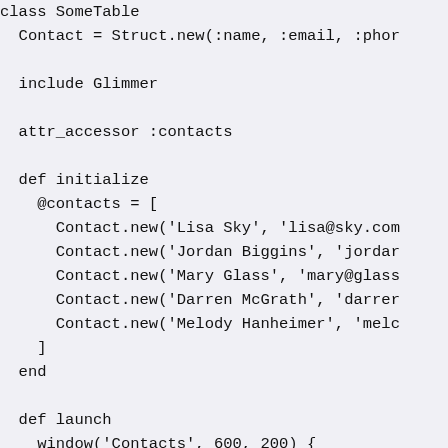class SomeTable
  Contact = Struct.new(:name, :email, :phor

  include Glimmer

  attr_accessor :contacts

  def initialize
    @contacts = [
      Contact.new('Lisa Sky', 'lisa@sky.com
      Contact.new('Jordan Biggins', 'jordar
      Contact.new('Mary Glass', 'mary@glass
      Contact.new('Darren McGrath', 'darrer
      Contact.new('Melody Hanheimer', 'melc
    ]
  end

  def launch
    window('Contacts', 600, 200) {